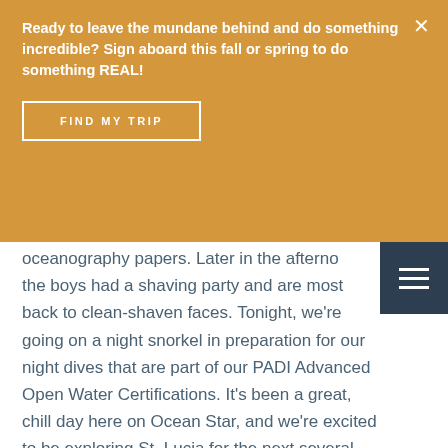Ready to leave the mundane behind and do something incredible? Sign aboard this fall or spring to do something REAL!
FIND MY TRIP
oceanography papers. Later in the afternoon the boys had a shaving party and are mostly back to clean-shaven faces. Tonight, we're going on a night snorkel in preparation for our night dives that are part of our PADI Advanced Open Water Certifications. It's been a great, chill day here on Ocean Star, and we're excited to be exploring St. Lucia for the next several days!